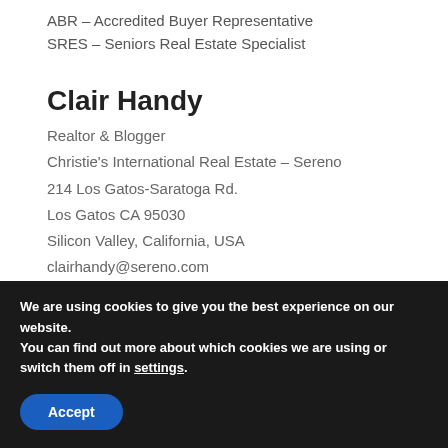ABR – Accredited Buyer Representative
SRES – Seniors Real Estate Specialist
Clair Handy
Realtor & Blogger
Christie's International Real Estate – Sereno
214 Los Gatos-Saratoga Rd.
Los Gatos CA 95030
Silicon Valley, California, USA
clairhandy@sereno.com
CA DRE # 02153633
We are using cookies to give you the best experience on our website.
You can find out more about which cookies we are using or switch them off in settings.